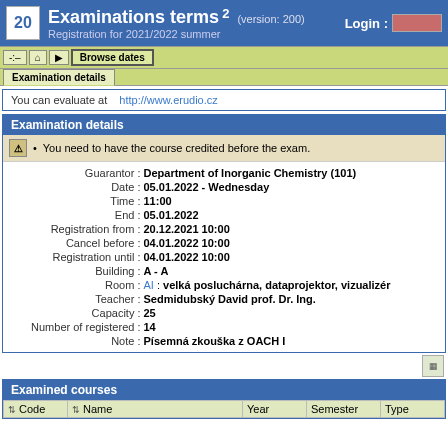Examinations terms 2 (version: 200) Registration for 2021/2022 summer Login:
Browse dates
Examination details
You can evaluate at http://www.erudio.cz
Examination details
You need to have the course credited before the exam.
| Field | Value |
| --- | --- |
| Guarantor | Department of Inorganic Chemistry (101) |
| Date | 05.01.2022 - Wednesday |
| Time | 11:00 |
| End | 05.01.2022 |
| Registration from | 20.12.2021 10:00 |
| Cancel before | 04.01.2022 10:00 |
| Registration until | 04.01.2022 10:00 |
| Building | A - A |
| Room | AI : velká posluchárna, dataprojektor, vizualizér |
| Teacher | Sedmidubský David prof. Dr. Ing. |
| Capacity | 25 |
| Number of registered | 14 |
| Note | Písemná zkouška z OACH I |
Examined courses
| Code | Name | Year | Semester | Type |
| --- | --- | --- | --- | --- |